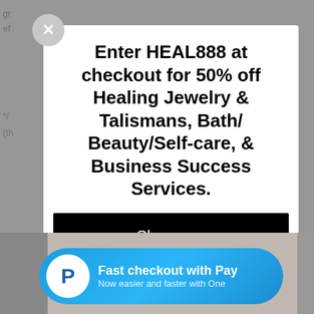Enter HEAL888 at checkout for 50% off Healing Jewelry & Talismans, Bath/ Beauty/Self-care, & Business Success Services.
Shop now
Fast checkout with Pay
Now easier and faster with One